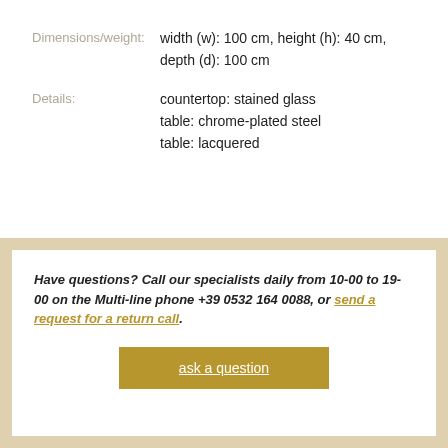Dimensions/weight: width (w): 100 cm, height (h): 40 cm, depth (d): 100 cm
Details: countertop: stained glass
table: chrome-plated steel
table: lacquered
Have questions? Call our specialists daily from 10-00 to 19-00 on the Multi-line phone +39 0532 164 0088, or send a request for a return call.
ask a question